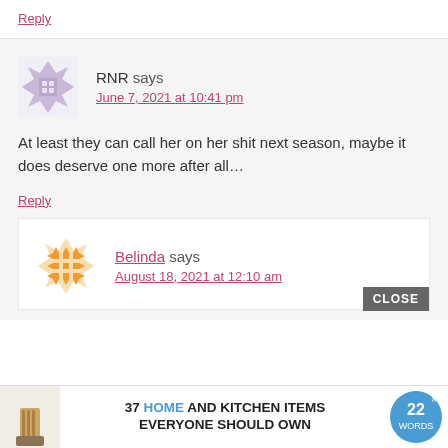Reply
[Figure (illustration): Purple geometric snowflake/star avatar icon for user RNR]
RNR says
June 7, 2021 at 10:41 pm
At least they can call her on her shit next season, maybe it does deserve one more after all…
Reply
[Figure (illustration): Orange/gold geometric snowflake/star avatar icon for user Belinda]
Belinda says
August 18, 2021 at 12:10 am
CLOSE
[Figure (illustration): Advertisement banner: 37 HOME AND KITCHEN ITEMS EVERYONE SHOULD OWN with 22 Words logo]